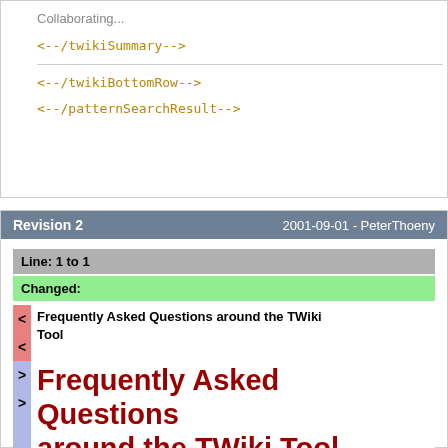Collaborating...
<!--/twikiSummary-->
<!--/twikiBottomRow-->
<!--/patternSearchResult-->
Revision 2    2001-09-01 - PeterThoeny
| Line: 1 to 1 |
| --- |
| Changed: |
| < Frequently Asked Questions around the TWiki Tool |
| > Frequently Asked Questions around the TWiki Tool |
Frequently Asked Questions around the TWiki Tool